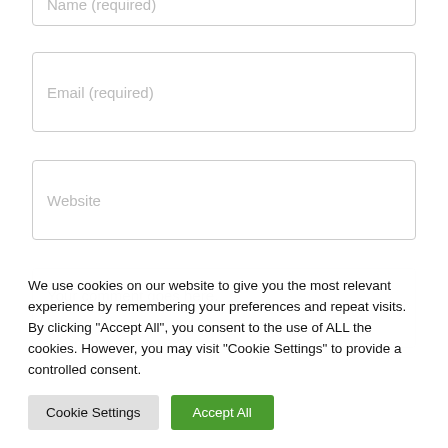Name (required)
Email (required)
Website
Your comment goes here.
We use cookies on our website to give you the most relevant experience by remembering your preferences and repeat visits. By clicking "Accept All", you consent to the use of ALL the cookies. However, you may visit "Cookie Settings" to provide a controlled consent.
Cookie Settings
Accept All